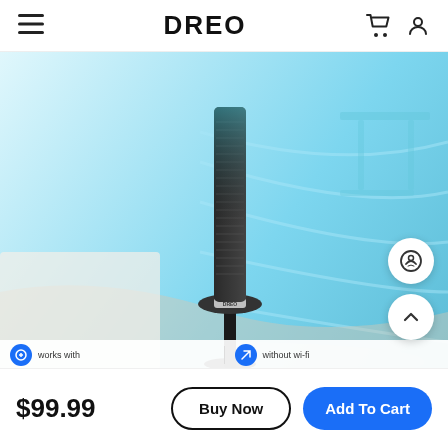DREO
[Figure (photo): A tall black Dreo tower fan shown against a light blue background with airflow motion lines, positioned in a room setting with soft furnishings visible.]
works with
without wi-fi
$99.99
Buy Now
Add To Cart